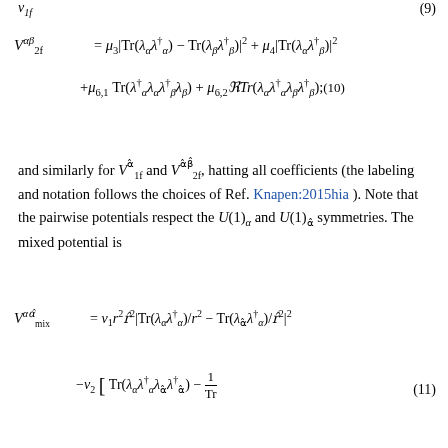and similarly for V_{1f}^{\hat{\alpha}} and V_{2f}^{\hat{\alpha}\hat{\beta}}, hatting all coefficients (the labeling and notation follows the choices of Ref. Knapen:2015hia ). Note that the pairwise potentials respect the U(1)_α and U(1)_{\hat{α}} symmetries. The mixed potential is